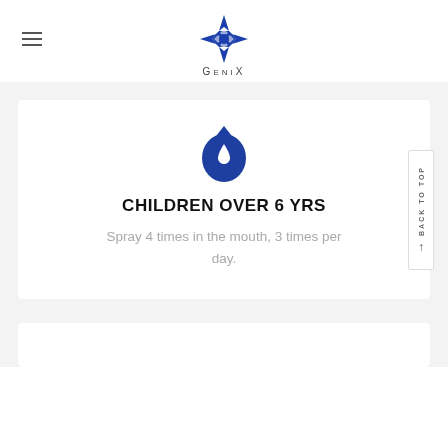[Figure (logo): GeniX logo — blue star-shaped icon above the text GENIX in spaced uppercase letters]
CHILDREN OVER 6 YRS
Spray 4 times in the mouth, 3 times per day.